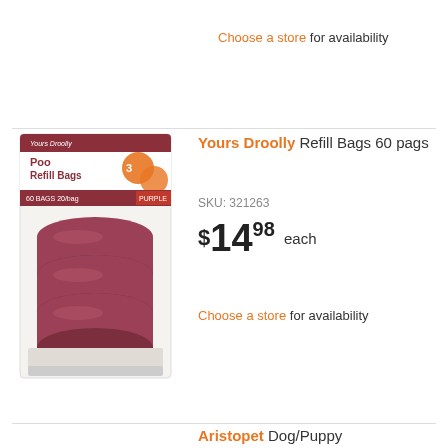Choose a store for availability
[Figure (photo): Yours Droolly Poo Refill Bags product package showing dark red/maroon rolled poo bags]
Yours Droolly Refill Bags 60 pags
SKU: 321263
$14.98 each
Choose a store for availability
Aristopet Dog/Puppy